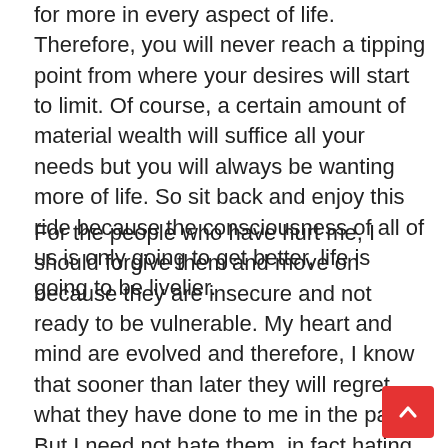for more in every aspect of life. Therefore, you will never reach a tipping point from where your desires will start to limit. Of course, a certain amount of material wealth will suffice all your needs but you will always be wanting more of life. So sit back and enjoy this ride because the consciousness of all of us is only going to get better, life is going to be livelier.
For the people who have hurt me, I should forgive them and move on because they are insecure and not ready to be vulnerable. My heart and mind are evolved and therefore, I know that sooner than later they will regret what they have done to me in the past. But I need not hate them, in fact hating them will burn and ache my heart only. There is a certain sense of liberalness we feel when we forgive people and move on. I wish them all the best in their life and may the Almighty put them on the path of Enlightenment.